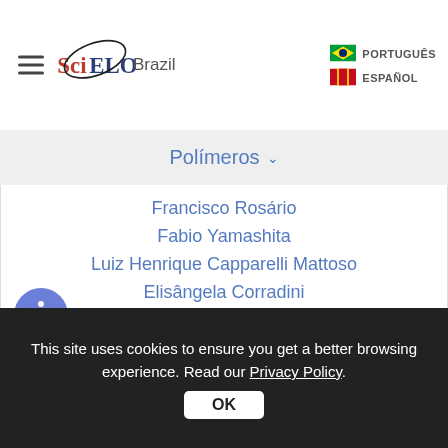SciELO Brazil | PORTUGUÊS | ESPAÑOL
Polímeros
Francisco Rosário
Fabio Yamashita
Luiz Henrique Capparelli Mattoso
Elisângela Corradini
ABOUT THE AUTHORS
Abstract
This site uses cookies to ensure you get a better browsing experience. Read our Privacy Policy.